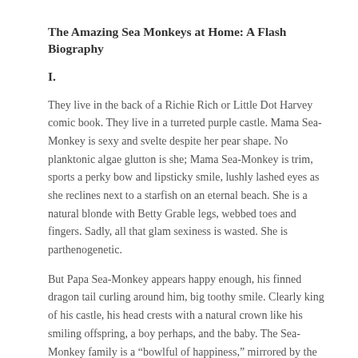The Amazing Sea Monkeys at Home: A Flash Biography
I.
They live in the back of a Richie Rich or Little Dot Harvey comic book. They live in a turreted purple castle. Mama Sea-Monkey is sexy and svelte despite her pear shape. No planktonic algae glutton is she; Mama Sea-Monkey is trim, sports a perky bow and lipsticky smile, lushly lashed eyes as she reclines next to a starfish on an eternal beach. She is a natural blonde with Betty Grable legs, webbed toes and fingers. Sadly, all that glam sexiness is wasted. She is parthenogenetic.
But Papa Sea-Monkey appears happy enough, his finned dragon tail curling around him, big toothy smile. Clearly king of his castle, his head crests with a natural crown like his smiling offspring, a boy perhaps, and the baby. The Sea-Monkey family is a “bowlful of happiness,” mirrored by the wholesome blonde be-pearled mom and consummately coiffed